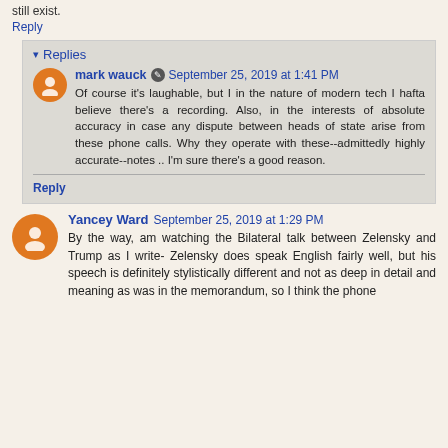still exist.
Reply
Replies
mark wauck  September 25, 2019 at 1:41 PM
Of course it's laughable, but I in the nature of modern tech I hafta believe there's a recording. Also, in the interests of absolute accuracy in case any dispute between heads of state arise from these phone calls. Why they operate with these--admittedly highly accurate--notes .. I'm sure there's a good reason.
Reply
Yancey Ward  September 25, 2019 at 1:29 PM
By the way, am watching the Bilateral talk between Zelensky and Trump as I write- Zelensky does speak English fairly well, but his speech is definitely stylistically different and not as deep in detail and meaning as was in the memorandum, so I think the phone